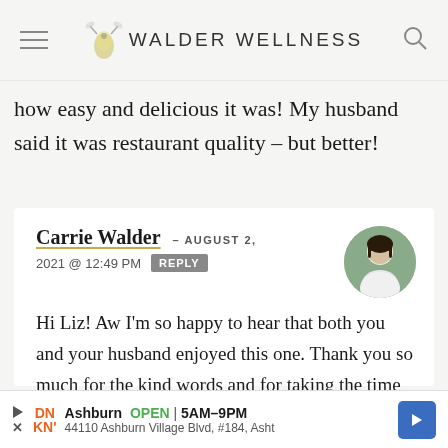WALDER WELLNESS
how easy and delicious it was! My husband said it was restaurant quality – but better!
Carrie Walder – AUGUST 2, 2021 @ 12:49 PM REPLY
Hi Liz! Aw I'm so happy to hear that both you and your husband enjoyed this one. Thank you so much for the kind words and for taking the time to leave a review – so appreciated!!!
Ashburn OPEN 5AM–9PM 44110 Ashburn Village Blvd, #184, Asht